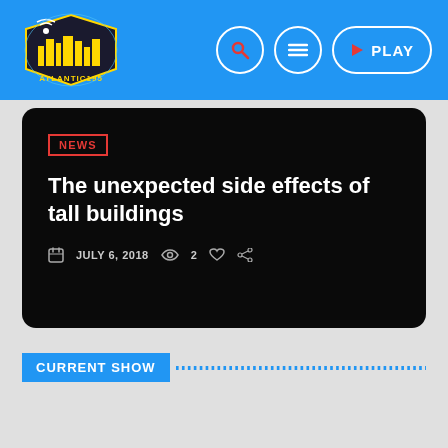Atlantic195 navigation bar with logo, search, menu, and PLAY button
The unexpected side effects of tall buildings
NEWS  JULY 6, 2018  2
CURRENT SHOW